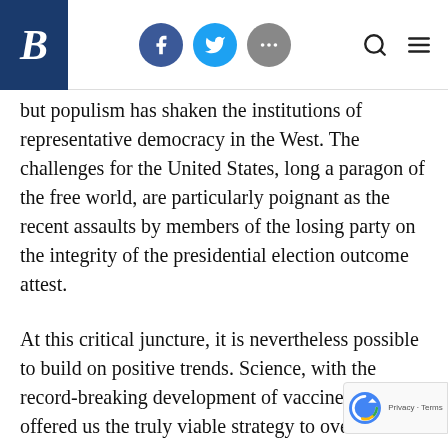Brookings Institution header with logo B, social icons (Facebook, Twitter, more), search and menu icons
but populism has shaken the institutions of representative democracy in the West. The challenges for the United States, long a paragon of the free world, are particularly poignant as the recent assaults by members of the losing party on the integrity of the presidential election outcome attest.
At this critical juncture, it is nevertheless possible to build on positive trends. Science, with the record-breaking development of vaccines, has offered us the truly viable strategy to overcome the pan... Asian democracies, leaning on the lessons lea... from past infectious disease outbreaks, have